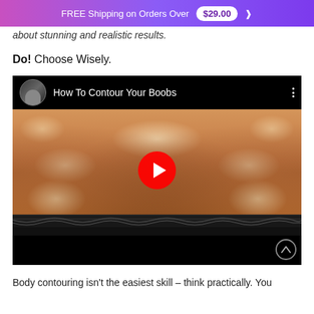FREE Shipping on Orders Over $29.00
about stunning and realistic results.
Do! Choose Wisely.
[Figure (screenshot): YouTube video thumbnail titled 'How To Contour Your Boobs' showing a body contouring makeup tutorial with a play button overlay]
Body contouring isn't the easiest skill – think practically. You